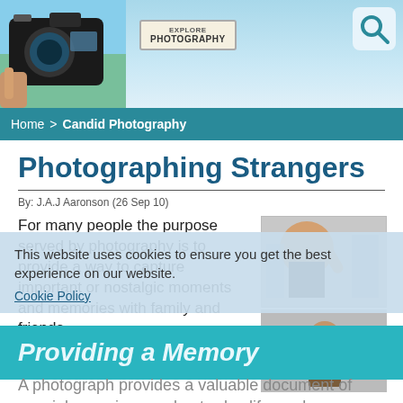[Figure (photo): Website header banner with a camera on the left, a signpost reading 'Explore Photography' in the center, blue sky background, and a search icon on the right]
Home > Candid Photography
Photographing Strangers
By: J.A.J Aaronson (26 Sep 10)
[Figure (photo): Two photos on the right: top shows a woman with blonde hair waving, bottom shows a person looking through a camera]
For many people the purpose served by photography is to provide a way to capture important or nostalgic moments and memories with family and friends.
This website uses cookies to ensure you get the best experience on our website.
Cookie Policy
Providing a Memory
A photograph provides a valuable document of special occasions or day-to-day life, and many